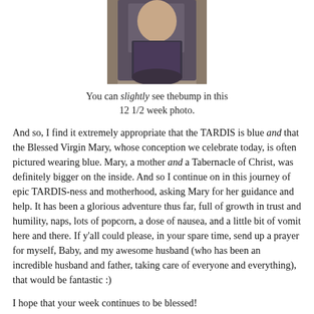[Figure (photo): A person wearing a floral/leaf-patterned dress, photo cropped to show torso area, showing a slight baby bump at 12.5 weeks.]
You can slightly see thebump in this 12 1/2 week photo.
And so, I find it extremely appropriate that the TARDIS is blue and that the Blessed Virgin Mary, whose conception we celebrate today, is often pictured wearing blue. Mary, a mother and a Tabernacle of Christ, was definitely bigger on the inside. And so I continue on in this journey of epic TARDIS-ness and motherhood, asking Mary for her guidance and help. It has been a glorious adventure thus far, full of growth in trust and humility, naps, lots of popcorn, a dose of nausea, and a little bit of vomit here and there. If y'all could please, in your spare time, send up a prayer for myself, Baby, and my awesome husband (who has been an incredible husband and father, taking care of everyone and everything), that would be fantastic :)
I hope that your week continues to be blessed!